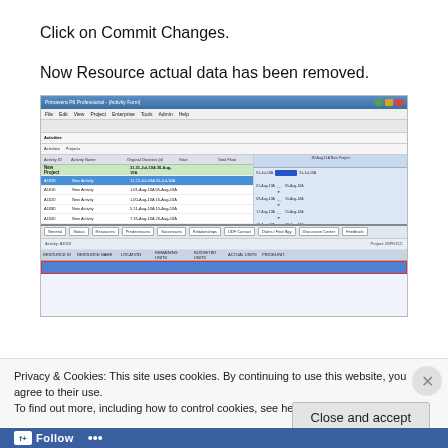Click on Commit Changes.
Now Resource actual data has been removed.
[Figure (screenshot): Screenshot of Primavera P6 Professional project management software showing a project schedule with activities listed on the left and a Gantt chart on the right. A resource assignments panel is visible at the bottom with one row highlighted in blue and outlined with a red border, indicating a resource assignment. The bottom panel shows resource assignment details.]
Privacy & Cookies: This site uses cookies. By continuing to use this website, you agree to their use.
To find out more, including how to control cookies, see here: Cookie Policy
Close and accept